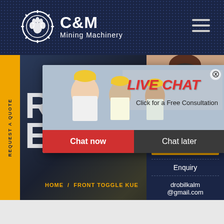[Figure (logo): C&M Mining Machinery logo with gear/claw icon on dark navy dotted background]
REQUEST A QUOTE (vertical left bar)
[Figure (screenshot): Hero area with large white text RON / EN on dark mining background, breadcrumb HOME / FRONT TOGGLE KUE]
[Figure (photo): Customer service woman with headset on right sidebar]
ave any requests, ick here.
Quotation
Enquiry
drobilkalm@gmail.com
[Figure (screenshot): Live chat popup with workers in helmets, LIVE CHAT label in red, Click for a Free Consultation, Chat now and Chat later buttons]